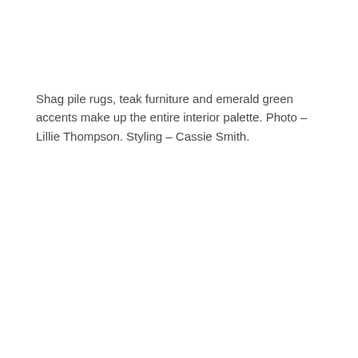Shag pile rugs, teak furniture and emerald green accents make up the entire interior palette. Photo – Lillie Thompson. Styling – Cassie Smith.